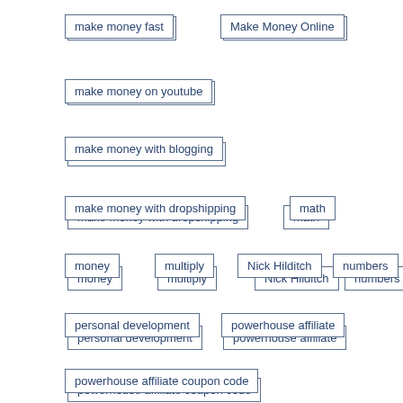make money fast
Make Money Online
make money on youtube
make money with blogging
make money with dropshipping
math
money
multiply
Nick Hilditch
numbers
personal development
powerhouse affiliate
powerhouse affiliate coupon code
powerhouse affiliate kenya
powerhouse affiliate login
powerhouse affiliate marketing